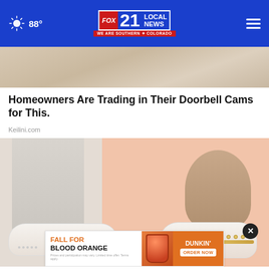FOX 21 LOCAL NEWS — WE ARE SOUTHERN COLORADO | 88°
[Figure (photo): Partial view of a tan/beige fabric or clothing item, cropped close-up top image]
Homeowners Are Trading in Their Doorbell Cams for This.
Keilini.com
[Figure (photo): Close-up photo of a person's feet wearing white decorative slip-on sneakers/loafers with perforated pattern and gold studs, person wearing white cropped pants. Pink and white background. Overlay ad banner for Dunkin' Fall Blood Orange promotion and a close button (X).]